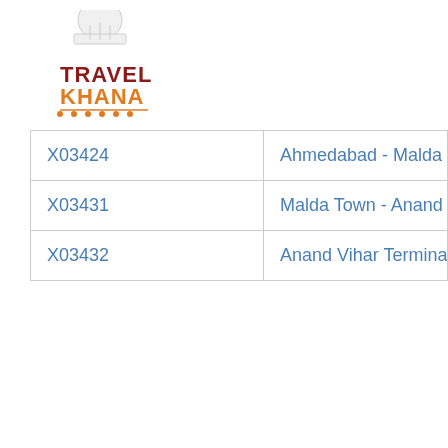[Figure (logo): TravelKhana logo with chef hat icon, TRAVEL in dark red/maroon, KHANA in orange, with orange dots below]
| X03424 | Ahmedabad - Malda Town JanSadharan Spec… |
| X03431 | Malda Town - Anand Vihar Terminal Special |
| X03432 | Anand Vihar Terminal - Malda Town Summer… |